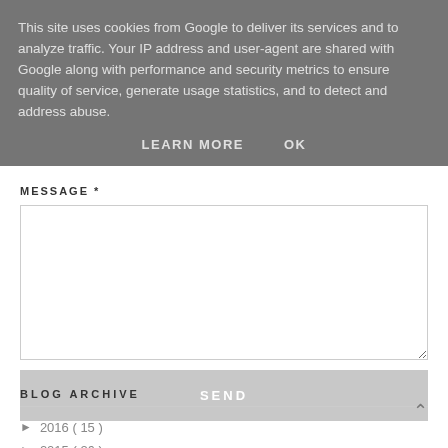This site uses cookies from Google to deliver its services and to analyze traffic. Your IP address and user-agent are shared with Google along with performance and security metrics to ensure quality of service, generate usage statistics, and to detect and address abuse.
LEARN MORE   OK
MESSAGE *
[Figure (screenshot): Empty text area input box for message entry]
SEND
BLOG ARCHIVE
► 2016 ( 15 )
► 2015 ( 26 )
▼ 2014 ( 97 )